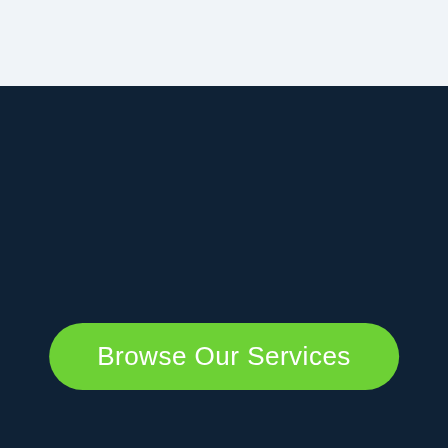Browse Our Services
[Figure (logo): Facebook, Twitter, and Instagram social media icon buttons with dark slate background]
[Figure (logo): TRUSTe Certified Privacy badge powered by TrustArc]